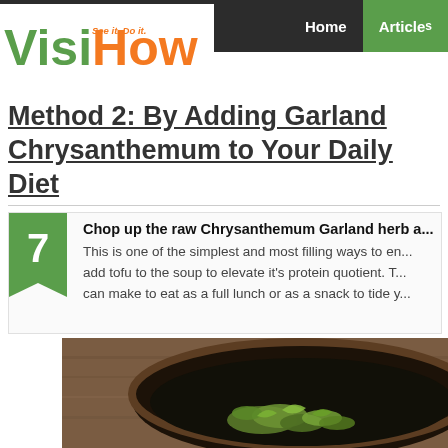VisiHow — See it. Do it. | Home | Articles
Method 2: By Adding Garland Chrysanthemum to Your Daily Diet
7 Chop up the raw Chrysanthemum Garland herb a... This is one of the simplest and most filling ways to en... add tofu to the soup to elevate it's protein quotient. T... can make to eat as a full lunch or as a snack to tide y...
[Figure (photo): A dark bowl of soup containing green chrysanthemum garland herb, photographed from above on a wooden surface.]